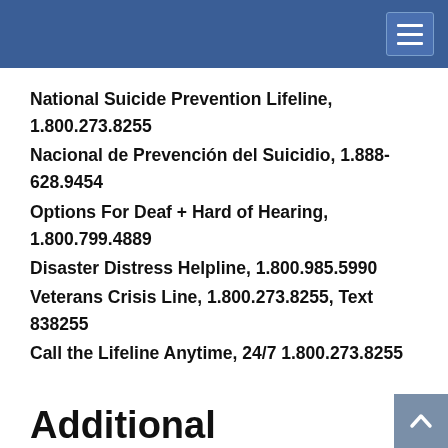National Suicide Prevention Lifeline, 1.800.273.8255
Nacional de Prevención del Suicidio, 1.888-628.9454
Options For Deaf + Hard of Hearing, 1.800.799.4889
Disaster Distress Helpline, 1.800.985.5990
Veterans Crisis Line, 1.800.273.8255, Text 838255
Call the Lifeline Anytime, 24/7 1.800.273.8255
Additional Resources:
Huron County Mental Health and Addiction